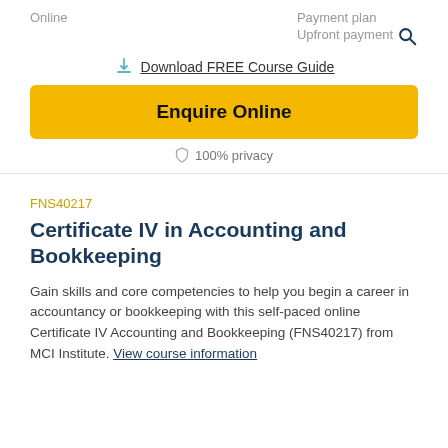Online
Payment plan
Upfront payment
Download FREE Course Guide
Enquire Online
100% privacy
FNS40217
Certificate IV in Accounting and Bookkeeping
Gain skills and core competencies to help you begin a career in accountancy or bookkeeping with this self-paced online Certificate IV Accounting and Bookkeeping (FNS40217) from MCI Institute. View course information